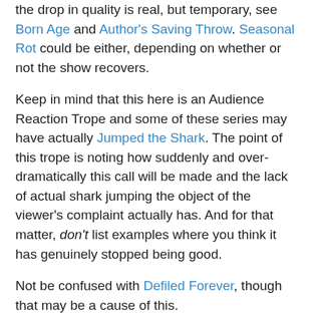the drop in quality is real, but temporary, see Born Age and Author's Saving Throw. Seasonal Rot could be either, depending on whether or not the show recovers.
Keep in mind that this here is an Audience Reaction Trope and some of these series may have actually Jumped the Shark. The point of this trope is noting how suddenly and over-dramatically this call will be made and the lack of actual shark jumping the object of the viewer’s complaint actually has. And for that matter, don’t list examples where you think it has genuinely stopped being good.
Not be confused with Defiled Forever, though that may be a cause of this.
Sub pages noting when people complain a show is ruined:
Anime & Manga
Card Games